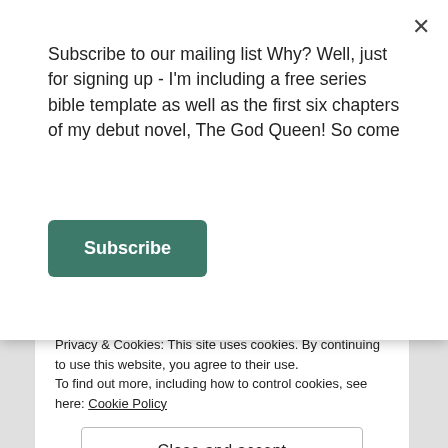Subscribe to our mailing list Why? Well, just for signing up - I'm including a free series bible template as well as the first six chapters of my debut novel, The God Queen! So come
Subscribe
Post Comment
NOTIFY ME OF NEW COMMENTS VIA EMAIL.
NOTIFY ME OF NEW POSTS VIA EMAIL.
Privacy & Cookies: This site uses cookies. By continuing to use this website, you agree to their use.
To find out more, including how to control cookies, see here: Cookie Policy
Close and accept